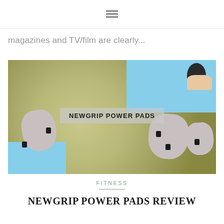☰
magazines and TV/film are clearly...
[Figure (photo): Product photo composite showing NewGrip Power Pads — grey foam palm pads with black velcro tabs, displayed against a woven circular mat background. A hand holds the device in the upper right corner against a blue background. A semi-transparent overlay reads: NEWGRIP POWER PADS]
FITNESS
NEWGRIP POWER PADS REVIEW